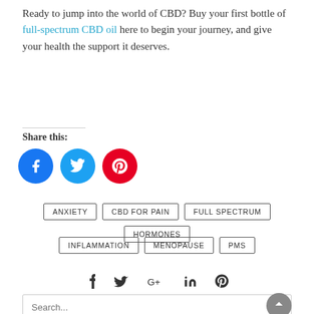Ready to jump into the world of CBD? Buy your first bottle of full-spectrum CBD oil here to begin your journey, and give your health the support it deserves.
Share this:
[Figure (infographic): Three circular social share buttons: Facebook (blue), Twitter (light blue), Pinterest (red)]
ANXIETY
CBD FOR PAIN
FULL SPECTRUM
HORMONES
INFLAMMATION
MENOPAUSE
PMS
[Figure (infographic): Social media icon bar: Facebook, Twitter, Google+, LinkedIn, Pinterest icons]
Search...